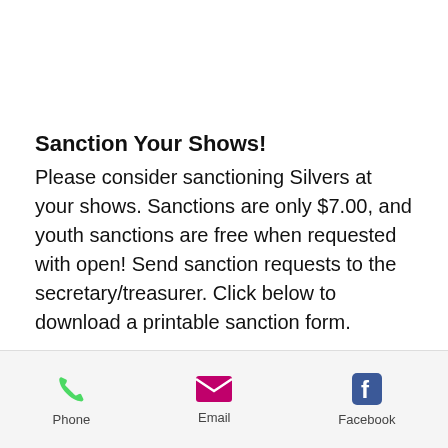Sanction Your Shows!
Please consider sanctioning Silvers at your shows.  Sanctions are only $7.00, and youth sanctions are free when requested with open!  Send sanction requests to the secretary/treasurer.  Click below to download a printable sanction form.
You can now pay for show sanctions with PayPal!  Please log into PayPal and...
Phone   Email   Facebook